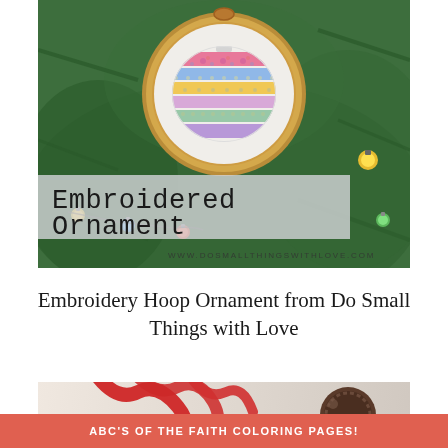[Figure (photo): Photo of an embroidery hoop ornament with colorful fabric strips arranged in a Christmas ornament shape, hanging on a Christmas tree with green branches and lights. Overlaid text banner reads 'Embroidered Ornament' with website www.dosmallthingswithlove.com]
Embroidery Hoop Ornament from Do Small Things with Love
[Figure (photo): Partial photo showing red ribbons and ornament decorations on a light background]
ABC'S OF THE FAITH COLORING PAGES!